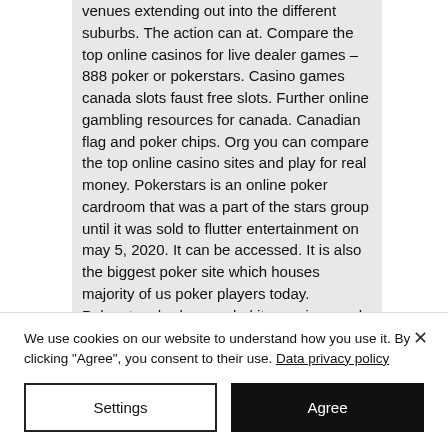venues extending out into the different suburbs. The action can at. Compare the top online casinos for live dealer games – 888 poker or pokerstars. Casino games canada slots faust free slots. Further online gambling resources for canada. Canadian flag and poker chips. Org you can compare the top online casino sites and play for real money. Pokerstars is an online poker cardroom that was a part of the stars group until it was sold to flutter entertainment on may 5, 2020. It can be accessed. It is also the biggest poker site which houses majority of us poker players today. Pokerstars had expanded its gaming reach by launching pokerstars
We use cookies on our website to understand how you use it. By clicking "Agree", you consent to their use. Data privacy policy
Settings
Agree